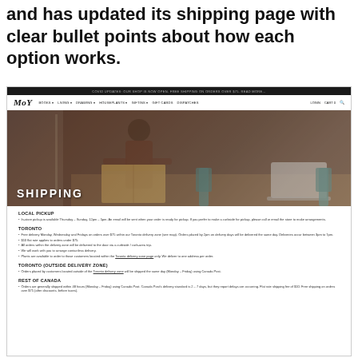and has updated its shipping page with clear bullet points about how each option works.
[Figure (screenshot): Screenshot of MoY website shipping page. Shows a dark navigation bar at top, logo 'MoY', navigation links, a hero image of someone handling a package with 'SHIPPING' text overlay, followed by sections: LOCAL PICKUP, TORONTO, TORONTO (OUTSIDE DELIVERY ZONE), REST OF CANADA, each with bullet points describing shipping policies.]